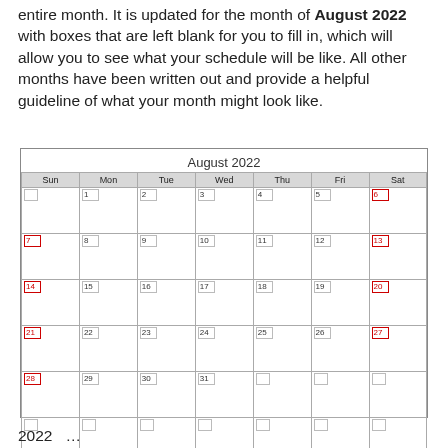entire month. It is updated for the month of August 2022 with boxes that are left blank for you to fill in, which will allow you to see what your schedule will be like. All other months have been written out and provide a helpful guideline of what your month might look like.
[Figure (other): August 2022 monthly calendar with days Sunday through Saturday, dates 1-31 filled in with small bordered number boxes in each cell. Sundays and Saturdays shown in red. Last two rows have empty cells for overflow. Footer: © PrintableCalendar4U.Com]
2022 ...